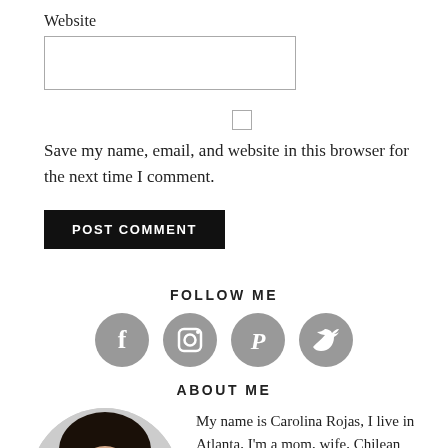Website
[Figure (screenshot): Website text input field (empty, bordered rectangle)]
[Figure (screenshot): Checkbox (unchecked square)]
Save my name, email, and website in this browser for the next time I comment.
POST COMMENT
FOLLOW ME
[Figure (infographic): Four social media circular icons: Facebook (f), Instagram (camera), Pinterest (P), Twitter (bird)]
ABOUT ME
[Figure (photo): Circular portrait photo of a woman with dark hair]
My name is Carolina Rojas, I live in Atlanta, I'm a mom, wife, Chilean cook, and food blogger. Read More...